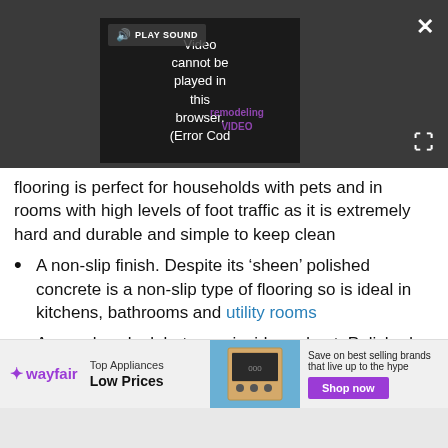[Figure (screenshot): Video player showing error: 'Video cannot be played in this browser. (Error Cod' with PLAY SOUND button, close X button, and expand button. Dark background with remodeling video branding visible.]
flooring is perfect for households with pets and in rooms with high levels of foot traffic as it is extremely hard and durable and simple to keep clean
A non-slip finish. Despite its ‘sheen’ polished concrete is a non-slip type of flooring so is ideal in kitchens, bathrooms and utility rooms
A seamless look between inside and out. Polished concrete flooring is also suitable for exterior use so is ideal where a level threshold is required between
[Figure (screenshot): Wayfair advertisement banner: 'Top Appliances Low Prices' with appliance image, 'Save on best selling brands that live up to the hype' and purple 'Shop now' button.]